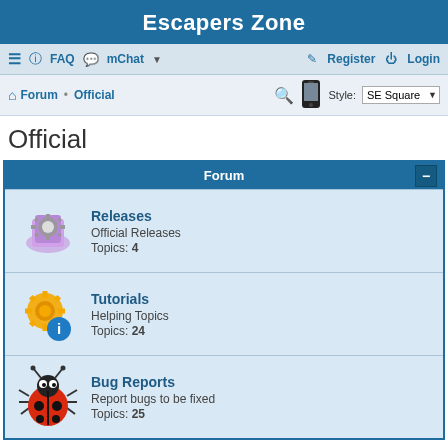Escapers Zone
≡ FAQ mChat ▾  Register  Login
Forum • Official  [search icon] [phone icon] Style: SE Square
Official
| Forum |
| --- |
| Releases | Official Releases | Topics: 4 |
| Tutorials | Helping Topics | Topics: 24 |
| Bug Reports | Report bugs to be fixed | Topics: 25 |
Jump to
WHO IS ONLINE